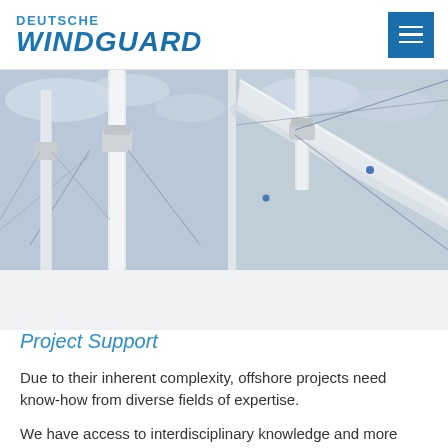DEUTSCHE WINDGUARD
[Figure (photo): Offshore wind turbine towers and blades photographed close-up from below, showing two turbine columns and a large blade sweeping diagonally against a cloudy sky. The image is split into two panels side by side.]
Project Support
Due to their inherent complexity, offshore projects need know-how from diverse fields of expertise.
We have access to interdisciplinary knowledge and more